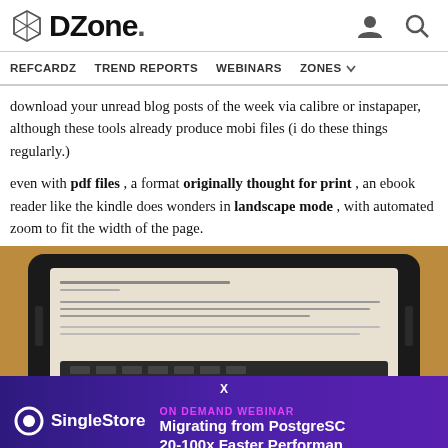DZone.
REFCARDZ   TREND REPORTS   WEBINARS   ZONES
download your unread blog posts of the week via calibre or instapaper, although these tools already produce mobi files (i do these things regularly.)
even with pdf files , a format originally thought for print , an ebook reader like the kindle does wonders in landscape mode , with automated zoom to fit the width of the page.
[Figure (photo): Photo of a Kindle e-reader displaying a document in landscape mode on a wooden surface, with an advertisement overlay for SingleStore ON DEMAND WEBINAR: Migrating from PostgreSQL 20-100x Faster Performance]